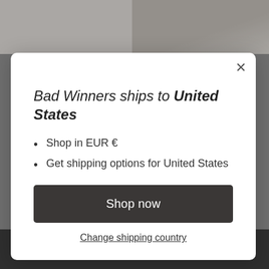[Figure (screenshot): Background content partially visible behind modal: two product images at top, dark footer bar at bottom with product names.]
Bad Winners ships to United States
Shop in EUR €
Get shipping options for United States
Shop now
Change shipping country
Motogadget Tiny Speedo Bundle for Royal Enfield
BW Motokit Royal Enfield 650